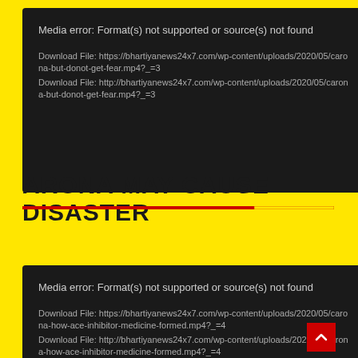[Figure (screenshot): Dark media player error box showing 'Media error: Format(s) not supported or source(s) not found' with two download file links for carona-but-donot-get-fear.mp4?_=3]
ARONA MAY CAUSE DISASTER
[Figure (screenshot): Dark media player error box showing 'Media error: Format(s) not supported or source(s) not found' with two download file links for carona-how-ace-inhibitor-medicine-formed.mp4?_=4]